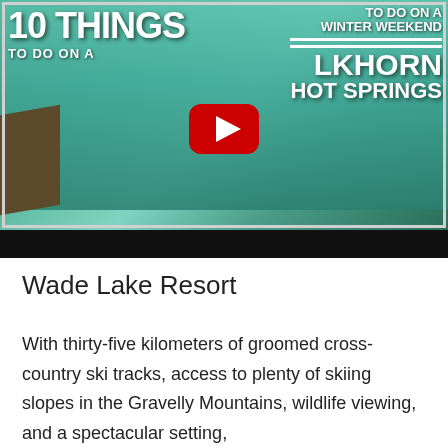[Figure (screenshot): YouTube video thumbnail showing people in a hot springs pool with text '10 THINGS TO DO ON A WINTER WEEKEND ELKHORN HOT SPRINGS' and a YouTube play button overlay]
Wade Lake Resort
With thirty-five kilometers of groomed cross-country ski tracks, access to plenty of skiing slopes in the Gravelly Mountains, wildlife viewing, and a spectacular setting, Wade Lake Resort has it all...